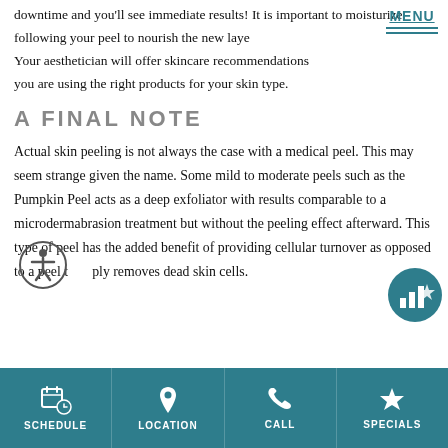downtime and you'll see immediate results! It is important to moisturize following your peel to nourish the new layer. Your aesthetician will offer skincare recommendations to ensure you are using the right products for your skin type.
A FINAL NOTE
Actual skin peeling is not always the case with a medical peel. This may seem strange given the name. Some mild to moderate peels such as the Pumpkin Peel acts as a deep exfoliator with results comparable to a microdermabrasion treatment but without the peeling effect afterward. This type of peel has the added benefit of providing cellular turnover as opposed to a peel that simply removes dead skin cells.
SCHEDULE | LOCATION | CALL | SPECIALS